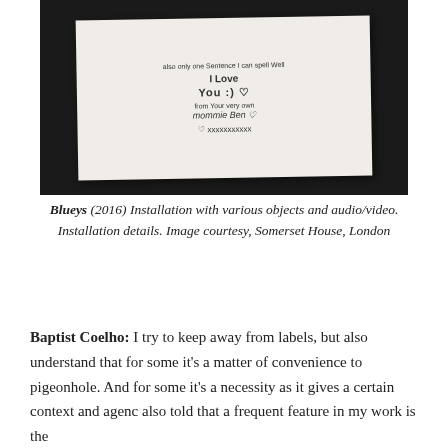[Figure (photo): A photograph of a handwritten note on paper against a dark background. The note reads: 'also only one Sentence I can spell Well / I Love You :) / from Your very own / mommie Ben / hearts and kisses']
Blueys (2016) Installation with various objects and audio/video. Installation details. Image courtesy, Somerset House, London
Baptist Coelho: I try to keep away from labels, but also understand that for some it's a matter of convenience to pigeonhole. And for some it's a necessity as it gives a certain context and agency also told that a frequent feature in my work is the